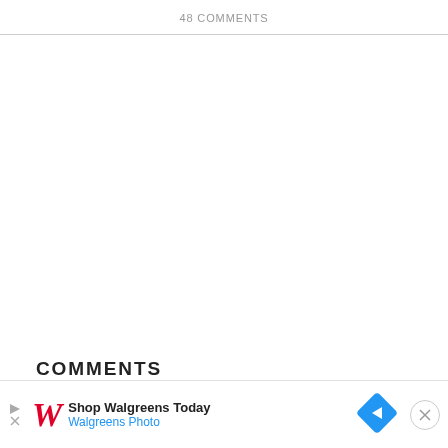48 COMMENTS
COMMENTS
[Figure (screenshot): Advertisement banner for Walgreens featuring the Walgreens red cursive W logo, text 'Shop Walgreens Today' and 'Walgreens Photo' in blue, a blue diamond-shaped arrow icon, and a close (X) button]